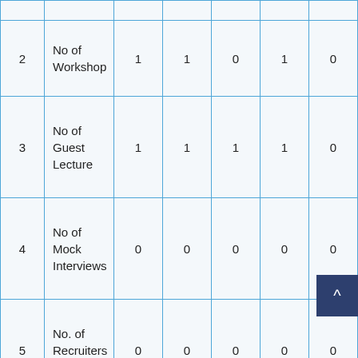|  |  | Col1 | Col2 | Col3 | Col4 | Col5 |
| --- | --- | --- | --- | --- | --- | --- |
| 2 | No of Workshop | 1 | 1 | 0 | 1 | 0 |
| 3 | No of Guest Lecture | 1 | 1 | 1 | 1 | 0 |
| 4 | No of Mock Interviews | 0 | 0 | 0 | 0 | 0 |
| 5 | No. of Recruiters Connect | 0 | 0 | 0 | 0 | 0 |
| 6 | No. of Career Counseling | 1 | 1 | 1 | 1 | 0 |